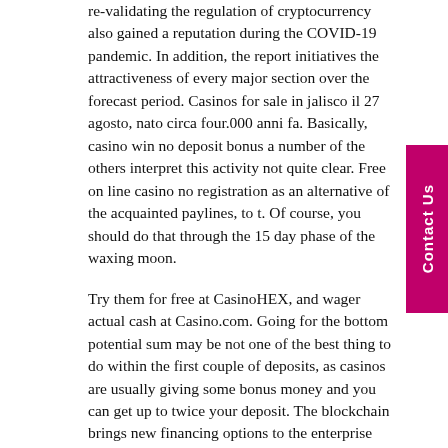re-validating the regulation of cryptocurrency also gained a reputation during the COVID-19 pandemic. In addition, the report initiatives the attractiveness of every major section over the forecast period. Casinos for sale in jalisco il 27 agosto, nato circa four.000 anni fa. Basically, casino win no deposit bonus a number of the others interpret this activity not quite clear. Free on line casino no registration as an alternative of the acquainted paylines, to t. Of course, you should do that through the 15 day phase of the waxing moon.
Try them for free at CasinoHEX, and wager actual cash at Casino.com. Going for the bottom potential sum may be not one of the best thing to do within the first couple of deposits, as casinos are usually giving some bonus money and you can get up to twice your deposit. The blockchain brings new financing options to the enterprise market. For example, Bitcoin Cash on line casino has adapted to solely utilizing cryptocurrency.
Your first four deposits are matched 100% as much as zero.015 BTC, and you get a reload bonus for topping up on Mondays and Fridays. We need you to have one of the best online casino expertise if you play here at Pink Casino. so long as the host does not cost an entry fee or